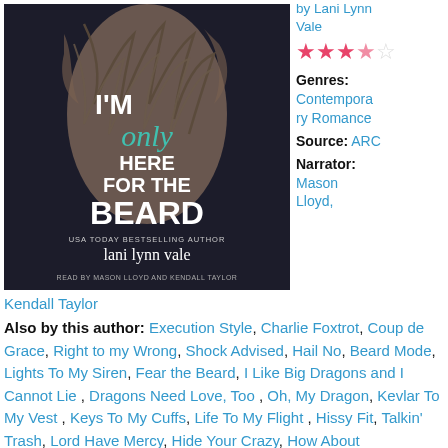[Figure (illustration): Book cover for 'I'm Only Here for the Beard' by Lani Lynn Vale. Shows a tattooed man's torso on a dark background. Text reads: I'M only HERE FOR THE BEARD, USA TODAY BESTSELLING AUTHOR, lani lynn vale, READ BY MASON LLOYD AND KENDALL TAYLOR.]
by Lani Lynn Vale
[Figure (other): 3.5 out of 5 stars rating shown as pink/red filled stars with one empty star]
Genres: Contemporary Romance
Source: ARC
Narrator: Mason Lloyd, Kendall Taylor
Also by this author: Execution Style, Charlie Foxtrot, Coup de Grace, Right to my Wrong, Shock Advised, Hail No, Beard Mode, Lights To My Siren, Fear the Beard, I Like Big Dragons and I Cannot Lie , Dragons Need Love, Too , Oh, My Dragon, Kevlar To My Vest , Keys To My Cuffs, Life To My Flight , Hissy Fit, Talkin' Trash, Lord Have Mercy, Hide Your Crazy, How About